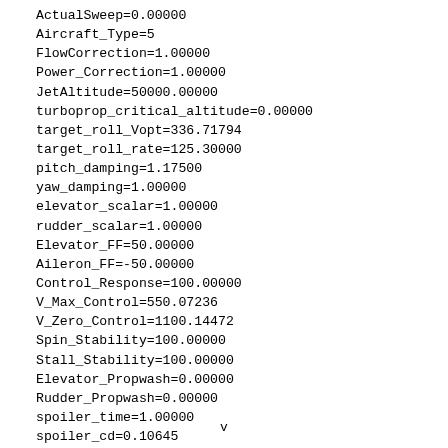ActualSweep=0.00000
Aircraft_Type=5
FlowCorrection=1.00000
Power_Correction=1.00000
JetAltitude=50000.00000
turboprop_critical_altitude=0.00000
target_roll_Vopt=336.71794
target_roll_rate=125.30000
pitch_damping=1.17500
yaw_damping=1.00000
elevator_scalar=1.00000
rudder_scalar=1.00000
Elevator_FF=50.00000
Aileron_FF=-50.00000
Control_Response=100.00000
V_Max_Control=550.07236
V_Zero_Control=1100.14472
Spin_Stability=100.00000
Stall_Stability=100.00000
Elevator_Propwash=0.00000
Rudder_Propwash=0.00000
spoiler_time=1.00000
spoiler_cd=0.10645
spoiler_cl=0.00000
v